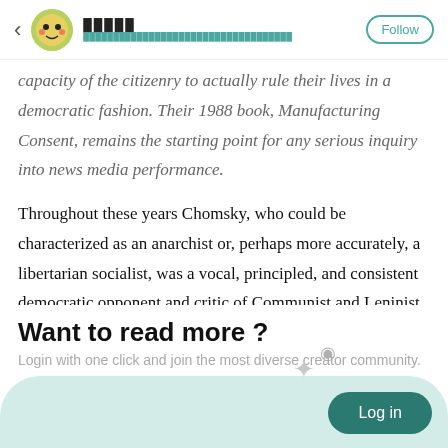◀ 🟡 ████ ████████████████████████████████████ Follow
capacity of the citizenry to actually rule their lives in a democratic fashion. Their 1988 book, Manufacturing Consent, remains the starting point for any serious inquiry into news media performance.
Throughout these years Chomsky, who could be characterized as an anarchist or, perhaps more accurately, a libertarian socialist, was a vocal, principled, and consistent democratic opponent and critic of Communist and Leninist political states and parties. He educated
Want to read more ?
Login with one click and join the most diverse creator community.
Log in